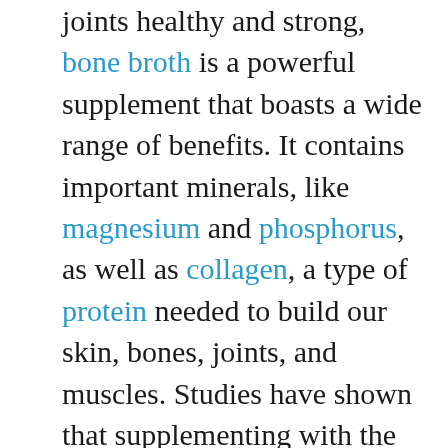joints healthy and strong, bone broth is a powerful supplement that boasts a wide range of benefits. It contains important minerals, like magnesium and phosphorus, as well as collagen, a type of protein needed to build our skin, bones, joints, and muscles. Studies have shown that supplementing with the collagen found in bone broth may help boost joint health and skin elasticity, and support immune health.
Pro tip: Unfortunately, much of the bone broth on the shelves of your local grocery store is produced using artificial meat flavors and pumped full of additives and extra ingredients that aren't so great for your health. I recommend making bone broth at home or